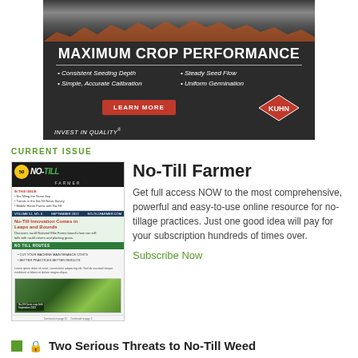[Figure (illustration): Kuhn agricultural equipment advertisement with dark background showing seeding machinery. Text reads MAXIMUM CROP PERFORMANCE with bullet points: Consistent Seeding Depth, Steady Seed Flow, Simple Accurate Calibration, Uniform Germination. Red LEARN MORE button and Kuhn diamond logo. INVEST IN QUALITY tagline at bottom.]
CURRENT ISSUE
[Figure (photo): Thumbnail of No-Till Farmer magazine cover showing No-Till Innovation Comes in Leaps and Bounds headline with field photography.]
No-Till Farmer
Get full access NOW to the most comprehensive, powerful and easy-to-use online resource for no-tillage practices. Just one good idea will pay for your subscription hundreds of times over.
Subscribe Now
Two Serious Threats to No-Till Weed